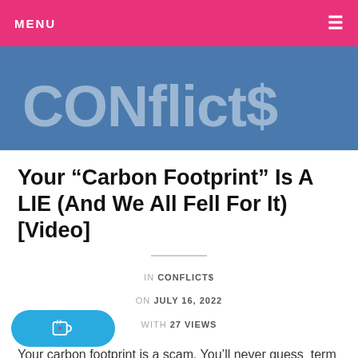MENU
CONflict$
Your “Carbon Footprint” Is A LIE (And We All Fell For It) [Video]
IN CONFLICT$
ON JULY 16, 2022
WITH 27 VIEWS
Your carbon footprint is a scam. You’ll never guess where the term carbon footprint came from in the first place & that it was only created less than 20yrs ago by